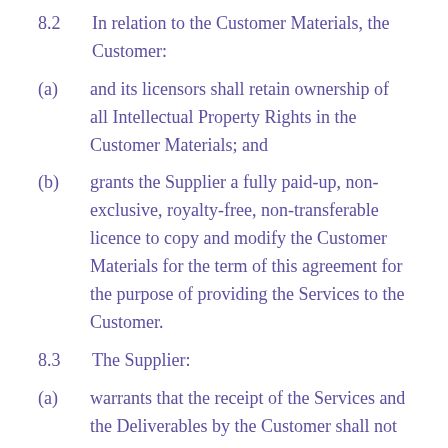8.2   In relation to the Customer Materials, the Customer:
(a)   and its licensors shall retain ownership of all Intellectual Property Rights in the Customer Materials; and
(b)   grants the Supplier a fully paid-up, non-exclusive, royalty-free, non-transferable licence to copy and modify the Customer Materials for the term of this agreement for the purpose of providing the Services to the Customer.
8.3   The Supplier:
(a)   warrants that the receipt of the Services and the Deliverables by the Customer shall not